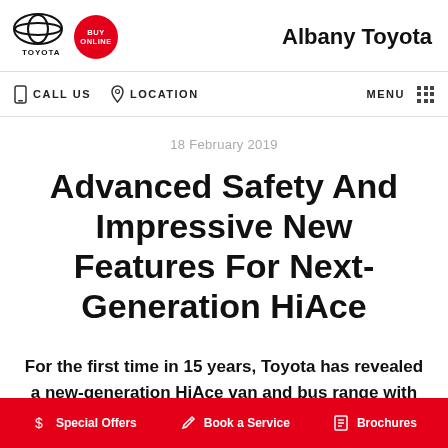Albany Toyota
18 February 2019
Advanced Safety And Impressive New Features For Next-Generation HiAce
For the first time in 15 years, Toyota has revealed a new-generation HiAce van and bus range with
Special Offers  Book a Service  Brochures